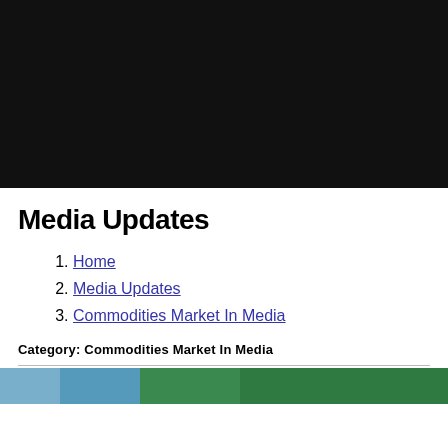[Figure (photo): Dark/black background image at top of page]
Media Updates
Home
Media Updates
Commodities Market In Media
Category: Commodities Market In Media
[Figure (photo): Partial image at bottom showing blue and green colors, partially cropped]